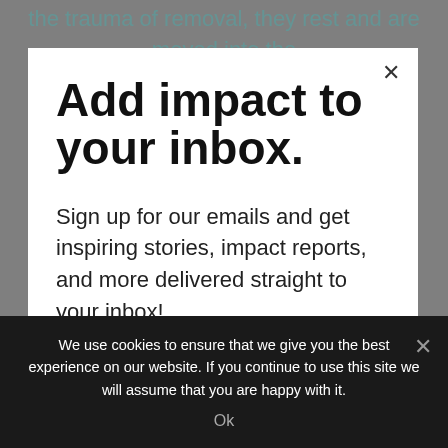the trauma of removal, they rest and are moved into the
Add impact to your inbox.
Sign up for our emails and get inspiring stories, impact reports, and more delivered straight to your inbox!
Email address
We use cookies to ensure that we give you the best experience on our website. If you continue to use this site we will assume that you are happy with it.
Ok